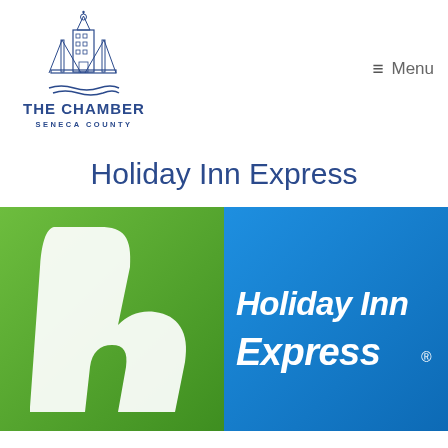[Figure (logo): The Chamber Seneca County logo with building/tower icon in blue]
≡  Menu
Holiday Inn Express
[Figure (logo): Holiday Inn Express logo with green left panel showing stylized white 'h' and blue right panel with 'Holiday Inn Express' text in white italic]